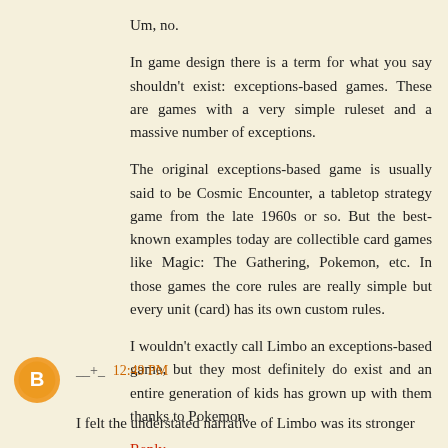Um, no.
In game design there is a term for what you say shouldn't exist: exceptions-based games. These are games with a very simple ruleset and a massive number of exceptions.
The original exceptions-based game is usually said to be Cosmic Encounter, a tabletop strategy game from the late 1960s or so. But the best-known examples today are collectible card games like Magic: The Gathering, Pokemon, etc. In those games the core rules are really simple but every unit (card) has its own custom rules.
I wouldn't exactly call Limbo an exceptions-based game, but they most definitely do exist and an entire generation of kids has grown up with them thanks to Pokemon.
Reply
__+_  12:49 PM
I felt the understated narrative of Limbo was its stronger